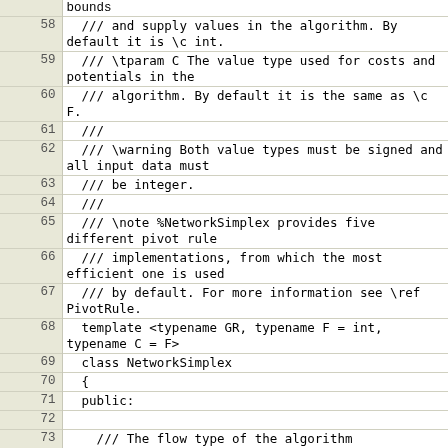[Figure (screenshot): Source code listing showing C++ code for NetworkSimplex class, lines 57-75, with line numbers and syntax comments in monospace font on a light background.]